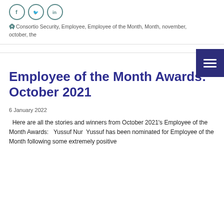[Figure (other): Social media icons: Facebook, Twitter, LinkedIn as circular outlined icons]
Consortio Security, Employee, Employee of the Month, Month, november, october, the
Employee of the Month Awards: October 2021
6 January 2022
Here are all the stories and winners from October 2021's Employee of the Month Awards:  Yussuf Nur  Yussuf has been nominated for Employee of the Month following some extremely positive